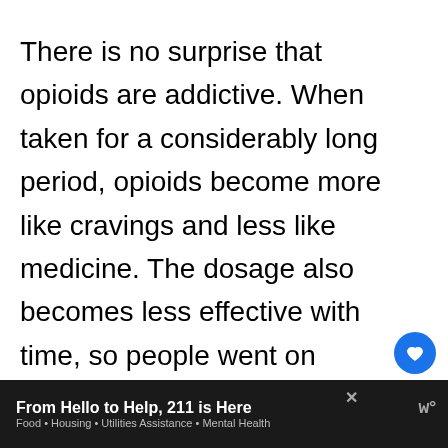There is no surprise that opioids are addictive. When taken for a considerably long period, opioids become more like cravings and less like medicine. The dosage also becomes less effective with time, so people went on increasing the same to achieve pain relief.
[Figure (other): UI elements: a blue circular heart/like button, a count of 1, and a share button]
From Hello to Help, 211 is Here — Food • Housing • Utilities Assistance • Mental Health